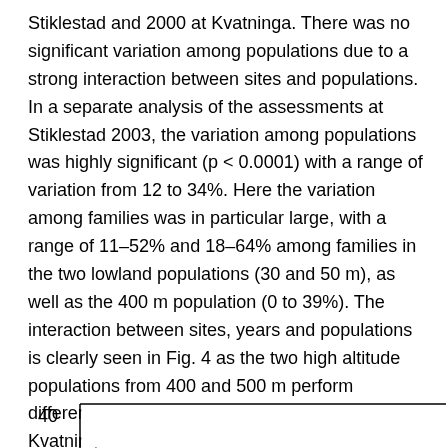Stiklestad and 2000 at Kvatninga. There was no significant variation among populations due to a strong interaction between sites and populations. In a separate analysis of the assessments at Stiklestad 2003, the variation among populations was highly significant (p < 0.0001) with a range of variation from 12 to 34%. Here the variation among families was in particular large, with a range of 11–52% and 18–64% among families in the two lowland populations (30 and 50 m), as well as the 400 m population (0 to 39%). The interaction between sites, years and populations is clearly seen in Fig. 4 as the two high altitude populations from 400 and 500 m perform differently, with high levels of lammas shoots at Kvatninga and lower levels at Stiklestad.
[Figure (continuous-plot): Partial view of a chart (cropped at bottom of page). Y-axis label '40' visible, with the top border and left border of the chart box visible.]